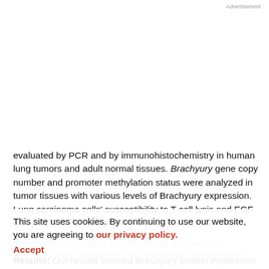Advertisement
evaluated by PCR and by immunohistochemistry in human lung tumors and adult normal tissues. Brachyury gene copy number and promoter methylation status were analyzed in tumor tissues with various levels of Brachyury expression. Lung carcinoma cells' susceptibility to T-cell lysis and EGF receptor (EGFR) kinase inhibition were also evaluated relative to the levels of Brachyury.
Results: Our results showed Brachyury protein expression in 41% of primary lung carcinomas, including
This site uses cookies. By continuing to use our website, you are agreeing to our privacy policy. Accept
cell line... and some tissues, the majority of normal tissues evaluated in this study were negative for the expression of Brachyury.